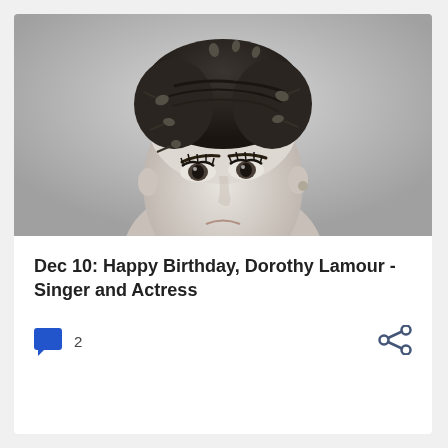[Figure (photo): Black and white portrait photograph of Dorothy Lamour, showing her face and head with decorative hair accessories/pins in her dark upswept hair, looking toward the camera.]
Dec 10: Happy Birthday, Dorothy Lamour - Singer and Actress
2